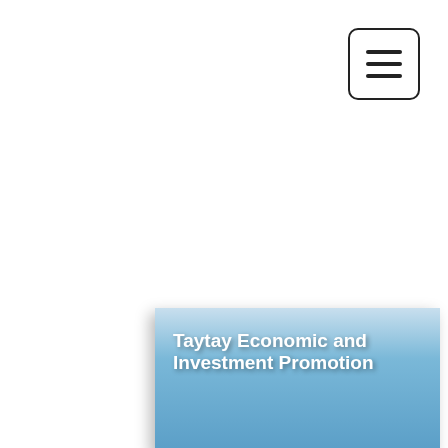[Figure (other): Hamburger menu button icon with three horizontal lines inside a rounded rectangle border]
[Figure (illustration): Light blue gradient banner/hero image block with title text 'Taytay Economic and Investment Promotion Office (TEIPO)' in bold white serif-style text with drop shadow]
Taytay Economic and Investment Promotion Office (TEIPO)